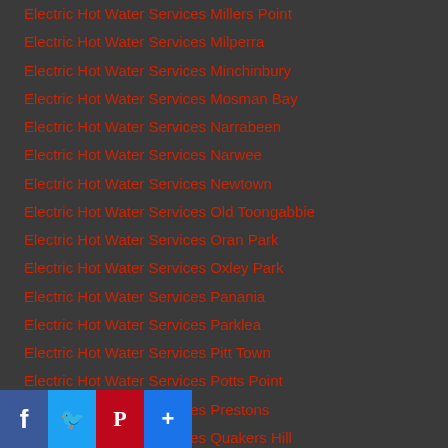Electric Hot Water Services Millers Point
Electric Hot Water Services Milperra
Electric Hot Water Services Minchinbury
Electric Hot Water Services Mosman Bay
Electric Hot Water Services Narrabeen
Electric Hot Water Services Narwee
Electric Hot Water Services Newtown
Electric Hot Water Services Old Toongabbie
Electric Hot Water Services Oran Park
Electric Hot Water Services Oxley Park
Electric Hot Water Services Panania
Electric Hot Water Services Parklea
Electric Hot Water Services Pitt Town
Electric Hot Water Services Potts Point
Electric Hot Water Services Prestons
Electric Hot Water Services Quakers Hill
Electric Hot Water Services Queens Park
Electric Hot Water Services Randwick
Electric Hot Water Services Revesby
Electric Hot Water Services Riverwood